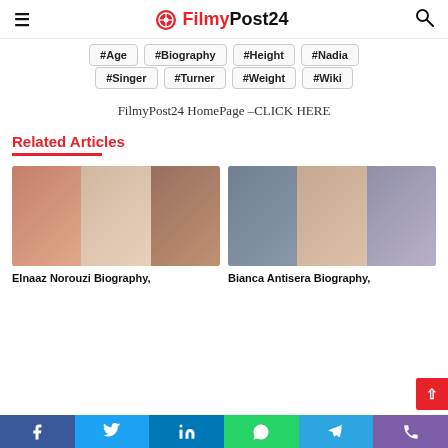FilmyPost24
#Age
#Biography
#Height
#Nadia
#Singer
#Turner
#Weight
#Wiki
FilmyPost24 HomePage –CLICK HERE
Related Articles
Elnaaz Norouzi Biography,
Bianca Antisera Biography,